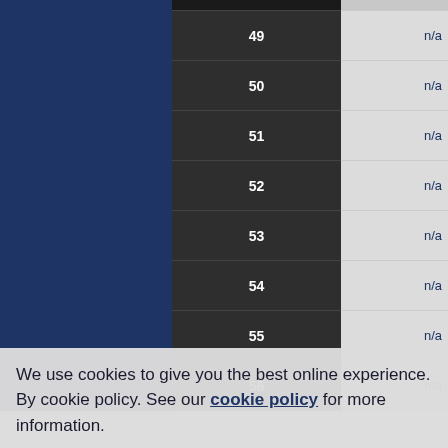|  | Row Number | Value |
| --- | --- | --- |
|  | 49 | n/a |
|  | 50 | n/a |
|  | 51 | n/a |
|  | 52 | n/a |
|  | 53 | n/a |
|  | 54 | n/a |
|  | 55 | n/a |
|  | 56 | n/a |
|  | 57 | n/a |
|  | 58 | n/a |
We use cookies to give you the best online experience. By cookie policy. See our cookie policy for more information.